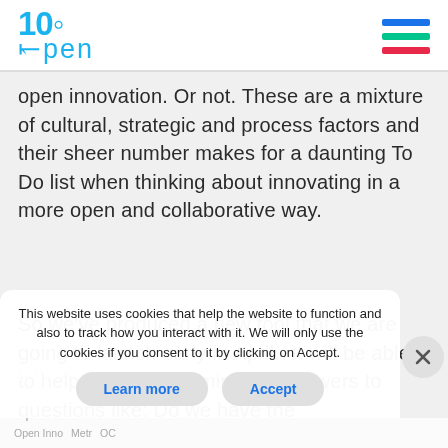100Open
open innovation. Or not. These are a mixture of cultural, strategic and process factors and their sheer number makes for a daunting To Do list when thinking about innovating in a more open and collaborative way.
So we've produced a new tool that we are going to launch early in April.  It will be able to help people determine the answers to questions like: Do we have the
This website uses cookies that help the website to function and also to track how you interact with it. We will only use the cookies if you consent to it by clicking on Accept.
purpose...
Open Inno   Metr   OC